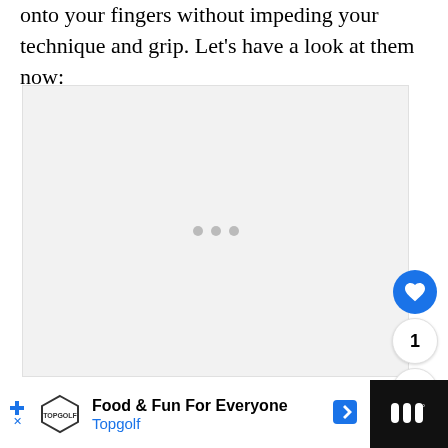onto your fingers without impeding your technique and grip. Let's have a look at them now:
[Figure (photo): Image placeholder with three gray dots in the center, light gray background]
Food & Fun For Everyone
Topgolf